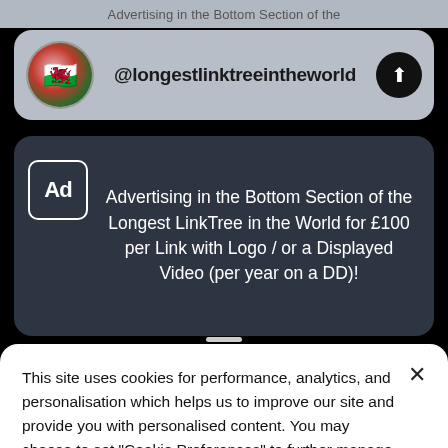Advertising in the Bottom Section of the
@longestlinktreeintheworld
[Figure (screenshot): Ad card on dark background: Ad badge icon on left, text reading 'Advertising in the Bottom Section of the Longest LinkTree in the World for £100 per Link with Logo / or a Displayed Video (per year on a DD)!']
This site uses cookies for performance, analytics, and personalisation which helps us to improve our site and provide you with personalised content. You may choose to set "Cookie Preferences" to further manage your cookie selections. For more information please see our Privacy Policy & Cookie Notice.
Cookie Preferences